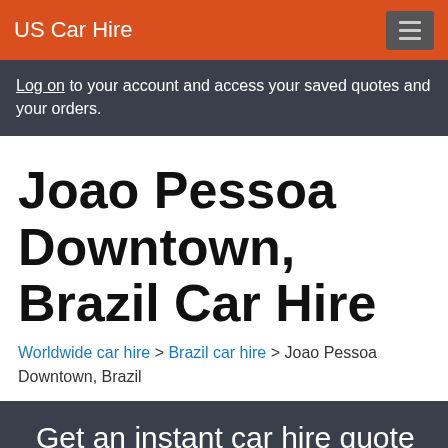US Car Hire
Log on to your account and access your saved quotes and your orders.
Joao Pessoa Downtown, Brazil Car Hire
Worldwide car hire > Brazil car hire > Joao Pessoa Downtown, Brazil
Get an instant car hire quote